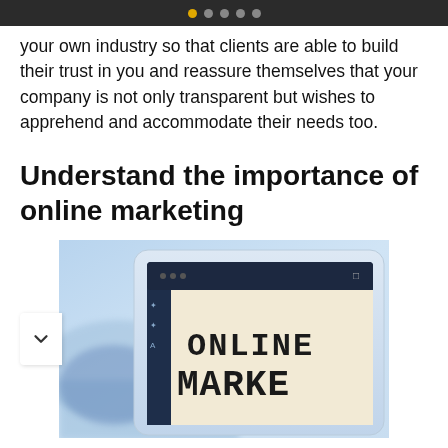• • • • •
your own industry so that clients are able to build their trust in you and reassure themselves that your company is not only transparent but wishes to apprehend and accommodate their needs too.
Understand the importance of online marketing
[Figure (photo): A tablet screen displaying the text 'ONLINE MARKET' in large bold letters, with a browser/app interface visible, placed on a desk with blurred background.]